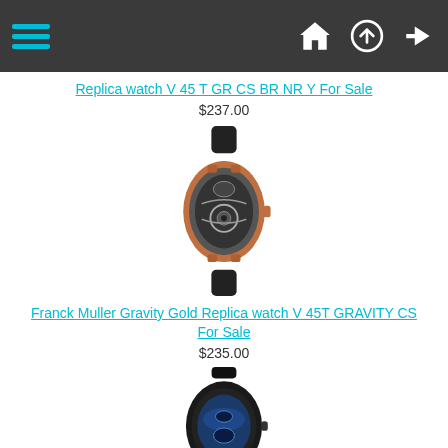Navigation bar with hamburger menu and icons
Replica watch V 45 T GR CS BR NR Y For Sale
$237.00
[Figure (photo): Rose gold Franck Muller skeleton tourbillon watch with black strap]
Franck Muller Gravity Gold Replica watch V 45T GRAVITY CS For Sale
$235.00
[Figure (photo): Black Franck Muller watch with blue dial and black strap, partially visible]